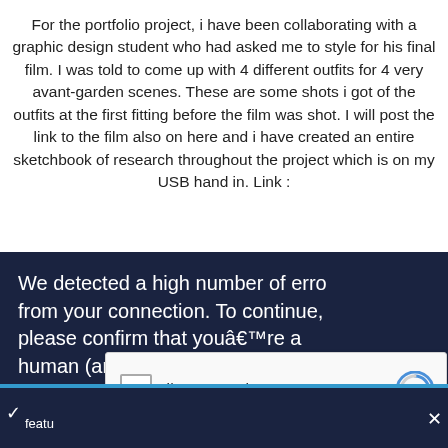For the portfolio project, i have been collaborating with a graphic design student who had asked me to style for his final film. I was told to come up with 4 different outfits for 4 very avant-garden scenes. These are some shots i got of the outfits at the first fitting before the film was shot. I will post the link to the film also on here and i have created an entire sketchbook of research throughout the project which is on my USB hand in. Link :
[Figure (screenshot): A CAPTCHA modal overlay on a dark navy background showing 'We detected a high number of errors from your connection. To continue, please confirm that you're a human (and not a spambot).' with an 'I'm not a robot' reCAPTCHA checkbox widget below.]